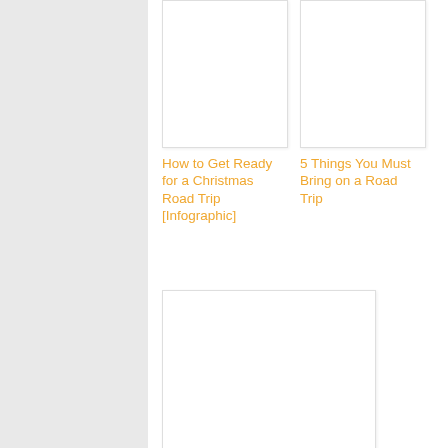[Figure (photo): Placeholder image for 'How to Get Ready for a Christmas Road Trip' article]
[Figure (photo): Placeholder image for '5 Things You Must Bring on a Road Trip' article]
How to Get Ready for a Christmas Road Trip [Infographic]
5 Things You Must Bring on a Road Trip
[Figure (photo): Placeholder image for '6 Tips to Driving Safely in the Philippines' article]
6 Tips to Driving Safely in the Philippines [Infographic]